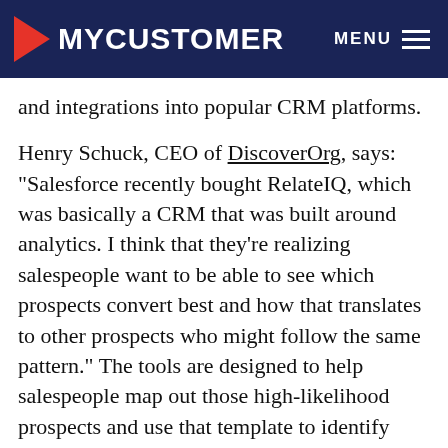MYCUSTOMER  MENU
and integrations into popular CRM platforms.
Henry Schuck, CEO of DiscoverOrg, says: “Salesforce recently bought RelateIQ, which was basically a CRM that was built around analytics. I think that they’re realizing salespeople want to be able to see which prospects convert best and how that translates to other prospects who might follow the same pattern.” The tools are designed to help salespeople map out those high-likelihood prospects and use that template to identify more high-likelihood prospects. The process of identifying the best prospects will require less guesswork and sales efforts will be more effective as analytical tools become more widely available.